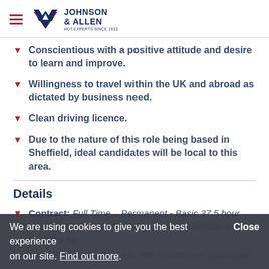Johnson & Allen - HOT.EXPERTS SINCE 1933
Conscientious with a positive attitude and desire to learn and improve.
Willingness to travel within the UK and abroad as dictated by business need.
Clean driving licence.
Due to the nature of this role being based in Sheffield, ideal candidates will be local to this area.
Details
Contract: Full Time – Permanent - Basic 37.5 hour week (8:30am – 5:00pm), but requiring additional flexibility for some inclusive early starts, late finishes and occasional nights away (typically between 1 - 3 nights).
We are using cookies to give you the best experience on our site. Find out more.